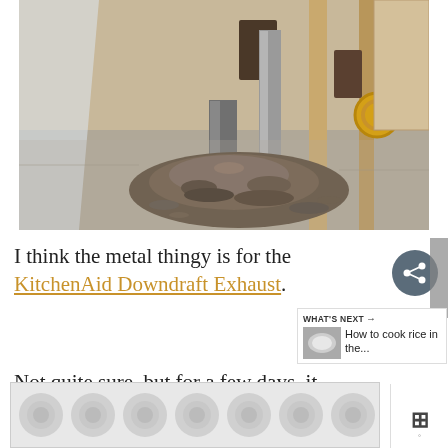[Figure (photo): Renovation site interior showing a pile of debris and dirt on a concrete floor, with a metal duct stub protruding from the floor. Walls are partially framed with wood studs and insulation. A plastic dust sheet hangs on the left side. A yellow circular object is visible at the right.]
I think the metal thingy is for the KitchenAid Downdraft Exhaust.
Not quite sure, but for a few days, it
[Figure (other): What's Next sidebar widget showing a thumbnail image of rice with text 'How to cook rice in the...']
[Figure (other): Bottom advertisement banner with a circular pattern background graphic, partially visible.]